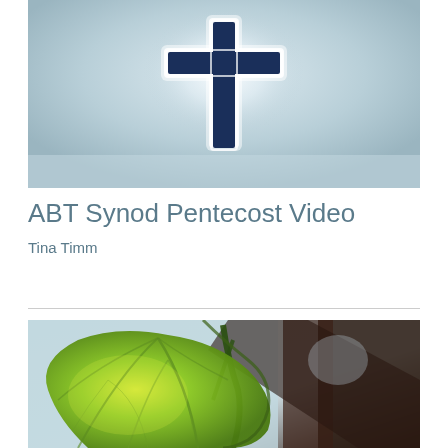[Figure (photo): A glowing Christian cross with a white halo/glow effect against a light blue-grey sky background, with the cross rendered in dark navy blue.]
ABT Synod Pentecost Video
Tina Timm
[Figure (photo): A close-up photo of a bright green leaf with visible veins, set against a blurred background with dark branches and a light grey/white sky. The leaf is illuminated from behind, giving it a vibrant yellowish-green color.]